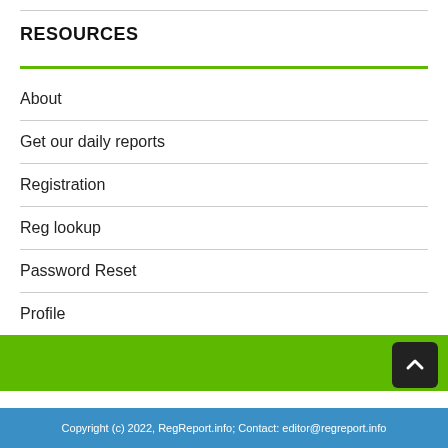RESOURCES
About
Get our daily reports
Registration
Reg lookup
Password Reset
Profile
Follow @editorregreport
Copyright (c) 2022, RegReport.info; Contact: editor@regreport.info